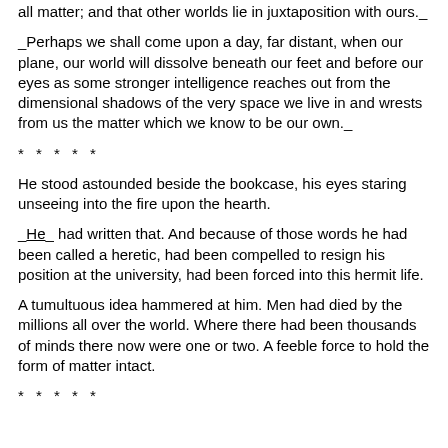all matter; and that other worlds lie in juxtaposition with ours._
_Perhaps we shall come upon a day, far distant, when our plane, our world will dissolve beneath our feet and before our eyes as some stronger intelligence reaches out from the dimensional shadows of the very space we live in and wrests from us the matter which we know to be our own._
* * * * *
He stood astounded beside the bookcase, his eyes staring unseeing into the fire upon the hearth.
_He_ had written that. And because of those words he had been called a heretic, had been compelled to resign his position at the university, had been forced into this hermit life.
A tumultuous idea hammered at him. Men had died by the millions all over the world. Where there had been thousands of minds there now were one or two. A feeble force to hold the form of matter intact.
* * * * *